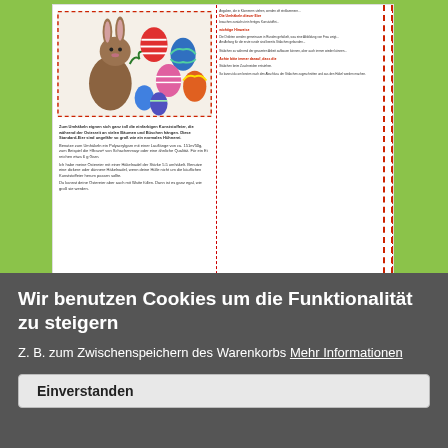[Figure (screenshot): Screenshot of a German crafting/knitting website showing a crochet Easter bunny with colorful Easter eggs, and instructional text about crocheting Easter eggs using plastic craft eggs and yarn.]
Lustigbunte OSTEREIER
[Figure (screenshot): Screenshot of a book cover or magazine page titled 'SCHATTENHERZ' with text 'Wir stricken ILLUSIONEN' and 'Eine Einführung']
Wir benutzen Cookies um die Funktionalität zu steigern
Z. B. zum Zwischenspeichern des Warenkorbs Mehr Informationen
Einverstanden